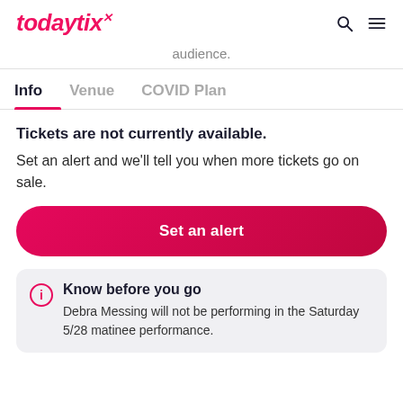todaytix
audience.
Info   Venue   COVID Plan
Tickets are not currently available. Set an alert and we'll tell you when more tickets go on sale.
Set an alert
Know before you go
Debra Messing will not be performing in the Saturday 5/28 matinee performance.